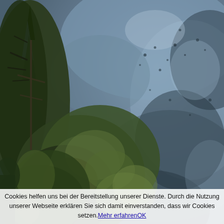[Figure (photo): Aerial or close-up photograph of a forested mountainside with dark evergreen trees and rocky cliff face. The scene shows dense coniferous trees (green and dark) against a grey-blue rocky background, taken from above or at an angle.]
Cookies helfen uns bei der Bereitstellung unserer Dienste. Durch die Nutzung unserer Webseite erklären Sie sich damit einverstanden, dass wir Cookies setzen. Mehr erfahren OK